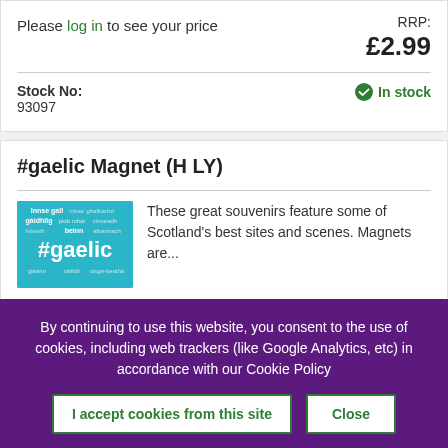Please log in to see your price
RRP: £2.99
Stock No: 93097
In stock
#gaelic Magnet (H LY)
[Figure (photo): Product image showing a teal/blue magnet with #gaelic word cloud design featuring Scottish Gaelic words]
These great souvenirs feature some of Scotland's best sites and scenes. Magnets are...
By continuing to use this website, you consent to the use of cookies, including web trackers (like Google Analytics, etc) in accordance with our Cookie Policy
I accept cookies from this site
Close